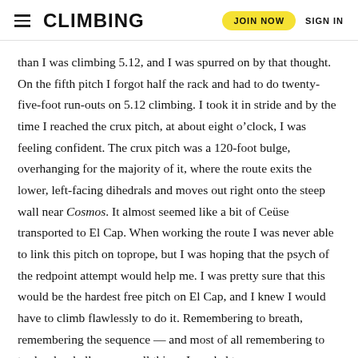CLIMBING | JOIN NOW | SIGN IN
than I was climbing 5.12, and I was spurred on by that thought. On the fifth pitch I forgot half the rack and had to do twenty-five-foot run-outs on 5.12 climbing. I took it in stride and by the time I reached the crux pitch, at about eight o’clock, I was feeling confident. The crux pitch was a 120-foot bulge, overhanging for the majority of it, where the route exits the lower, left-facing dihedrals and moves out right onto the steep wall near Cosmos. It almost seemed like a bit of Ceüse transported to El Cap. When working the route I was never able to link this pitch on toprope, but I was hoping that the psych of the redpoint attempt would help me. I was pretty sure that this would be the hardest free pitch on El Cap, and I knew I would have to climb flawlessly to do it. Remembering to breath, remembering the sequence — and most of all remembering to try hard as hell — were all things I needed to